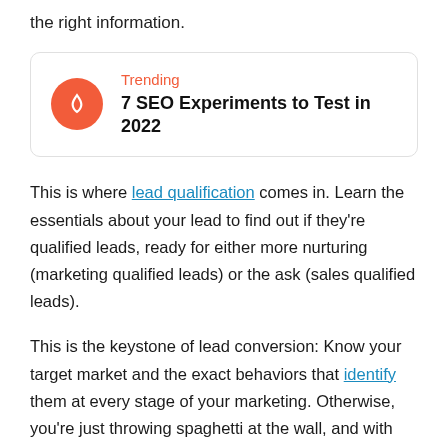the right information.
[Figure (infographic): Trending box with flame icon, label 'Trending' in orange, and title '7 SEO Experiments to Test in 2022' in bold]
This is where lead qualification comes in. Learn the essentials about your lead to find out if they’re qualified leads, ready for either more nurturing (marketing qualified leads) or the ask (sales qualified leads).
This is the keystone of lead conversion: Know your target market and the exact behaviors that identify them at every stage of your marketing. Otherwise, you’re just throwing spaghetti at the wall, and with the opportunities to gather first-party data at your fingertips these days, there’s no excuse for that.